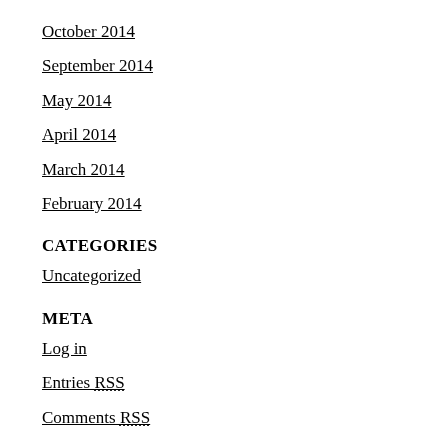October 2014
September 2014
May 2014
April 2014
March 2014
February 2014
CATEGORIES
Uncategorized
META
Log in
Entries RSS
Comments RSS